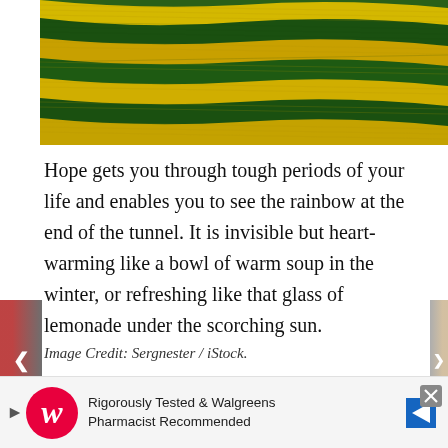[Figure (photo): Aerial view of terraced agricultural fields with alternating strips of yellow/golden grain and dark green crops creating diagonal wave-like patterns across rolling hills.]
Hope gets you through tough periods of your life and enables you to see the rainbow at the end of the tunnel. It is invisible but heart-warming like a bowl of warm soup in the winter, or refreshing like that glass of lemonade under the scorching sun.
Image Credit: Sergnester / iStock.
18. Anticipation